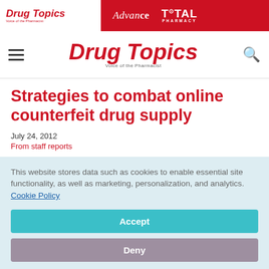Drug Topics | Advance | TOTAL PHARMACY
Drug Topics — Voice of the Pharmacist
Strategies to combat online counterfeit drug supply
July 24, 2012
From staff reports
This website stores data such as cookies to enable essential site functionality, as well as marketing, personalization, and analytics. Cookie Policy
Accept
Deny